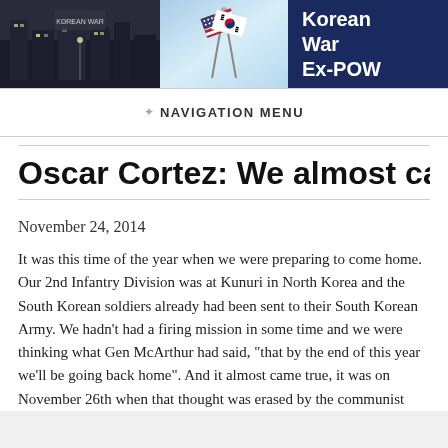[Figure (illustration): Korean War Ex-POW website banner with three sections: left shows a black-and-white street scene, center shows crossed American and South Korean flags on a light blue background, right shows dark navy background with bold white text 'Korean War Ex-POW']
NAVIGATION MENU
Oscar Cortez: We almost came h
November 24, 2014
It was this time of the year when we were preparing to come home. Our 2nd Infantry Division was at Kunuri in North Korea and the South Korean soldiers already had been sent to their South Korean Army. We hadn't had a firing mission in some time and we were thinking what Gen McArthur had said, "that by the end of this year we'll be going back home". And it almost came true, it was on November 26th when that thought was erased by the communist